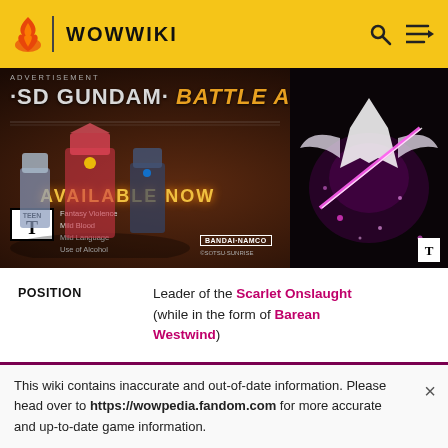WOWWIKI
[Figure (photo): SD Gundam Battle Alliance advertisement banner showing game characters and title text 'AVAILABLE NOW', with ESRB Teen rating and Bandai Namco logo]
| POSITION | LOCATION |
| --- | --- |
| Leader of the Scarlet Onslaught (while in the form of Barean Westwind) | Culling of Stratholme, Caverns of Time or Hidden Hollow, Icecrown, |
This wiki contains inaccurate and out-of-date information. Please head over to https://wowpedia.fandom.com for more accurate and up-to-date game information.